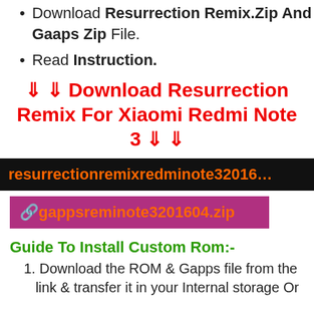Download Resurrection Remix.Zip And Gaaps Zip File.
Read Instruction.
⇓ ⇓ Download Resurrection Remix For Xiaomi Redmi Note 3 ⇓ ⇓
resurrectionremixredminote32016…
🔗gappsreminote3201604.zip
Guide To Install Custom Rom:-
1. Download the ROM & Gapps file from the link & transfer it in your Internal storage Or